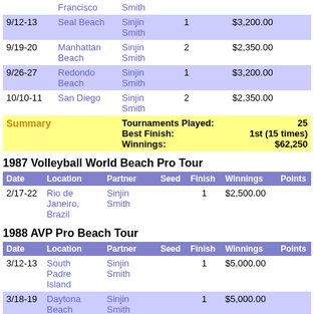| Date | Location | Partner | Seed | Finish | Winnings | Points |
| --- | --- | --- | --- | --- | --- | --- |
| (Francisco) | (Smith) |  |  |  |  |  |
| 9/12-13 | Seal Beach | Sinjin Smith | 1 |  | $3,200.00 |  |
| 9/19-20 | Manhattan Beach | Sinjin Smith | 2 |  | $2,350.00 |  |
| 9/26-27 | Redondo Beach | Sinjin Smith | 1 |  | $3,200.00 |  |
| 10/10-11 | San Diego | Sinjin Smith | 2 |  | $2,350.00 |  |
| Summary |  | Tournaments Played: 25 | Best Finish: 1st (15 times) | Winnings: $62,250 |  |  |  |  |
1987 Volleyball World Beach Pro Tour
| Date | Location | Partner | Seed | Finish | Winnings | Points |
| --- | --- | --- | --- | --- | --- | --- |
| 2/17-22 | Rio de Janeiro, Brazil | Sinjin Smith |  | 1 | $2,500.00 |  |
1988 AVP Pro Beach Tour
| Date | Location | Partner | Seed | Finish | Winnings | Points |
| --- | --- | --- | --- | --- | --- | --- |
| 3/12-13 | South Padre Island | Sinjin Smith |  | 1 | $5,000.00 |  |
| 3/18-19 | Daytona Beach | Sinjin Smith |  | 1 | $5,000.00 |  |